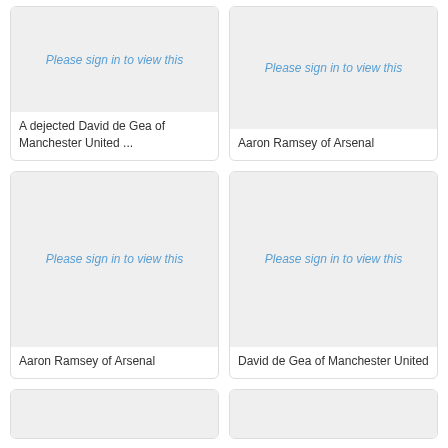[Figure (photo): Placeholder image with 'Please sign in to view this' text]
A dejected David de Gea of Manchester United ...
[Figure (photo): Placeholder image with 'Please sign in to view this' text]
Aaron Ramsey of Arsenal
[Figure (photo): Placeholder image with 'Please sign in to view this' text]
Aaron Ramsey of Arsenal
[Figure (photo): Placeholder image with 'Please sign in to view this' text]
David de Gea of Manchester United